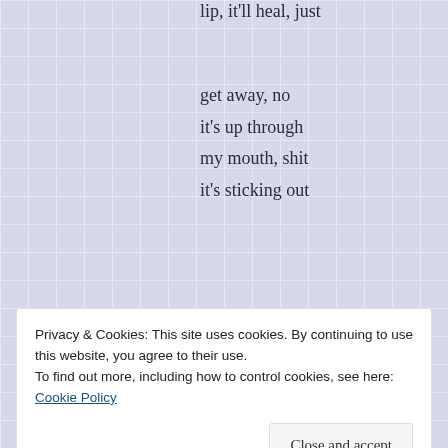lip, it'll heal, just
get away, no
it's up through
my mouth, shit
it's sticking out
[Figure (infographic): WordPress.com advertisement banner with text 'Build a better web and a better world.' and an Apply button, with a circular photo of a man thinking]
Privacy & Cookies: This site uses cookies. By continuing to use this website, you agree to their use.
To find out more, including how to control cookies, see here:
Cookie Policy
Close and accept